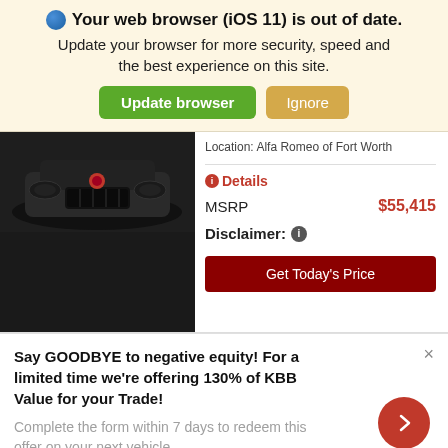Your web browser (iOS 11) is out of date. Update your browser for more security, speed and the best experience on this site.
Update browser | Ignore
[Figure (photo): Partial view of a dark-colored car front/hood]
Location: Alfa Romeo of Fort Worth
Details
MSRP   $55,415
Disclaimer:
Get Today's Price
Say GOODBYE to negative equity! For a limited time we're offering 130% of KBB Value for your Trade!
Complete the form within 7 days to redeem this offer on your next vehicle